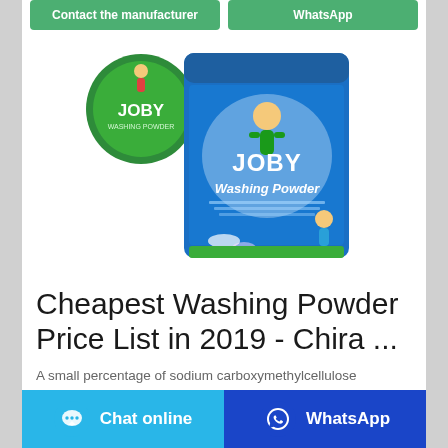Contact the manufacturer | WhatsApp
[Figure (photo): JOBY Washing Powder product bag with logo — blue bag with a person, flowers, and 'JOBY Washing Powder' text]
Cheapest Washing Powder Price List in 2019 - Chira ...
A small percentage of sodium carboxymethylcellulose
Chat online | WhatsApp